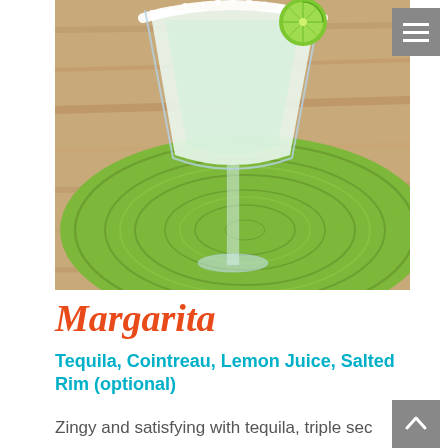[Figure (photo): A margarita cocktail in a salt-rimmed glass with a lime garnish, sitting on a bright green circular woven placemat on a wooden surface]
Margarita
Tequila, Cointreau, Lemon Juice, Salted Rim (optional)
Zingy and satisfying with tequila, triple sec